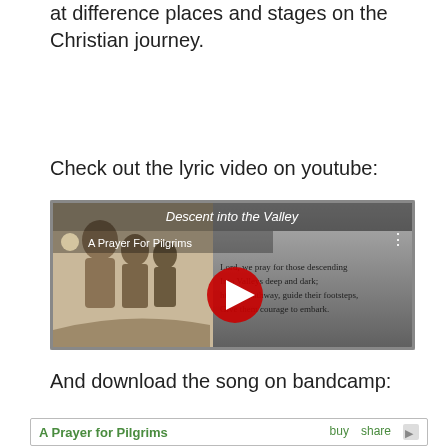at difference places and stages on the Christian journey.
Check out the lyric video on youtube:
[Figure (screenshot): YouTube video thumbnail showing 'A Prayer For Pilgrims' lyric video with a sepia-tone pilgrim illustration and lyrics text: 'Lord, we pray for those descending Into Valleys deep and dark; ht their pathway, guide their footsteps, Give them courage to embark.' A red YouTube play button is visible in the center.]
And download the song on bandcamp:
[Figure (screenshot): Bandcamp player bar showing 'A Prayer for Pilgrims' with buy and share links in green text.]